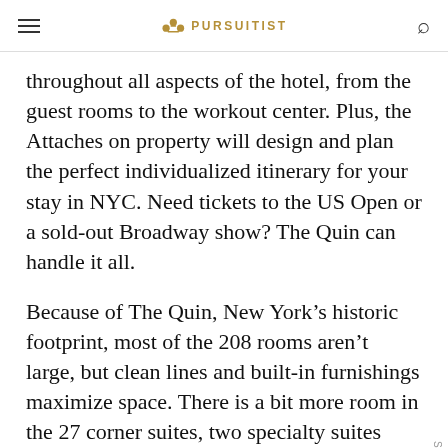PURSUITIST
throughout all aspects of the hotel, from the guest rooms to the workout center. Plus, the Attaches on property will design and plan the perfect individualized itinerary for your stay in NYC. Need tickets to the US Open or a sold-out Broadway show? The Quin can handle it all.
Because of The Quin, New York’s historic footprint, most of the 208 rooms aren’t large, but clean lines and built-in furnishings maximize space. There is a bit more room in the 27 corner suites, two specialty suites with wraparound balconies, and a three-story